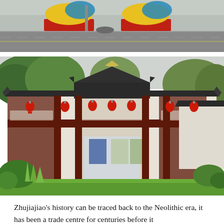[Figure (photo): Photo of a street scene with colorful sculptures on red bases along a road, with a gray road surface and a bump visible. The sculptures appear yellow and blue/teal at the top.]
[Figure (photo): Photo of a traditional Chinese two-story building with dark red wooden balconies, curved rooflines, red lanterns hanging from the upper floor, white walls, and a manicured green lawn in the foreground. Trees are visible in the background.]
Zhujiajiao's history can be traced back to the Neolithic era, it has been a trade centre for centuries before it